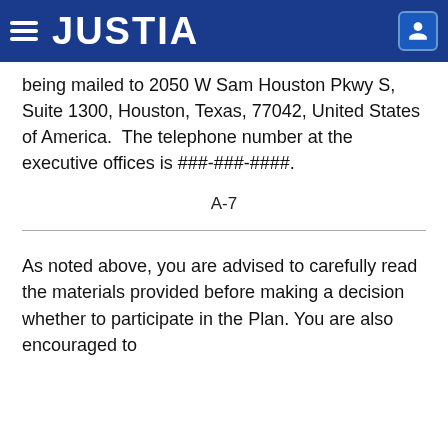JUSTIA
being mailed to 2050 W Sam Houston Pkwy S, Suite 1300, Houston, Texas, 77042, United States of America.  The telephone number at the executive offices is ###-###-####.
A-7
As noted above, you are advised to carefully read the materials provided before making a decision whether to participate in the Plan. You are also encouraged to